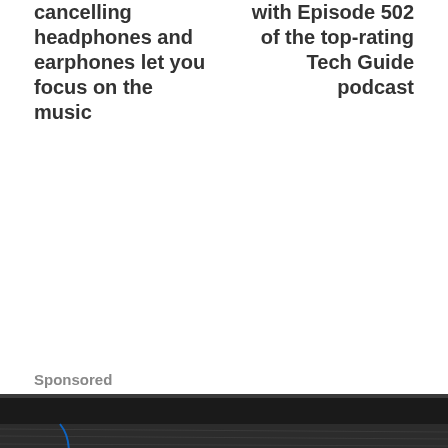cancelling headphones and earphones let you focus on the music
with Episode 502 of the top-rating Tech Guide podcast
Sponsored
[Figure (photo): Close-up photo of what appears to be a black headphone or audio device resting on skin/flesh-toned surface, showing dark fabric/mesh detail]